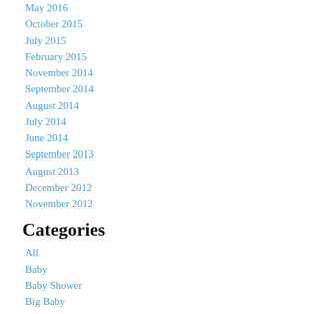May 2016
October 2015
July 2015
February 2015
November 2014
September 2014
August 2014
July 2014
June 2014
September 2013
August 2013
December 2012
November 2012
Categories
All
Baby
Baby Shower
Big Baby
Birth
Birth Trauma